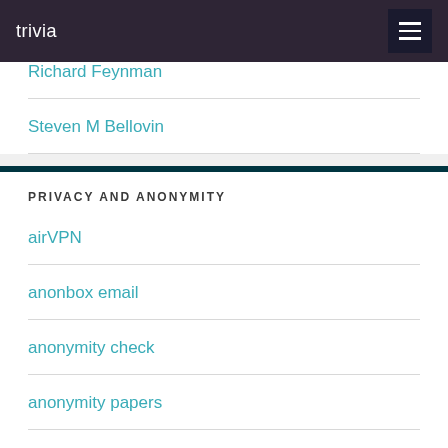trivia
Richard Feynman
Steven M Bellovin
PRIVACY AND ANONYMITY
airVPN
anonbox email
anonymity check
anonymity papers
are you unique
browser spy
dns leak test